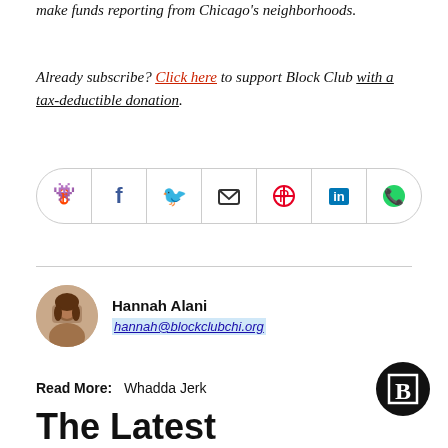make funds reporting from Chicago's neighborhoods.
Already subscribe? Click here to support Block Club with a tax-deductible donation.
[Figure (other): Social sharing bar with icons: Reddit, Facebook, Twitter, Email, Pinterest, LinkedIn, WhatsApp]
Hannah Alani
hannah@blockclubchi.org
Read More: Whadda Jerk
[Figure (logo): Block Club B logo — black circle with white B in a square frame]
The Latest